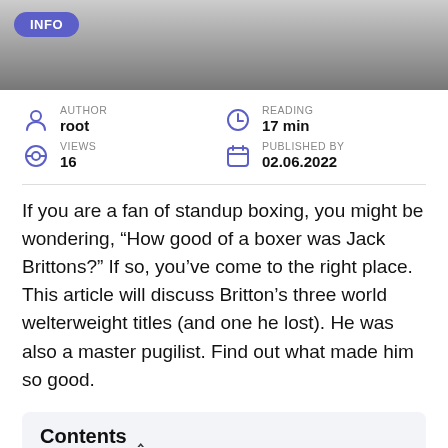[Figure (photo): Black and white photo of a boxer, cropped at top with INFO badge overlay]
AUTHOR
root
READING
17 min
VIEWS
16
PUBLISHED BY
02.06.2022
If you are a fan of standup boxing, you might be wondering, “How good of a boxer was Jack Brittons?” If so, you’ve come to the right place. This article will discuss Britton’s three world welterweight titles (and one he lost). He was also a master pugilist. Find out what made him so good.
Contents ^